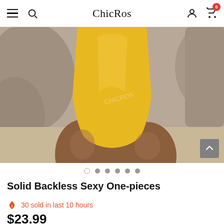ChicRos — navigation bar with hamburger menu, search, logo, user account, and cart (0 items)
[Figure (photo): Model wearing a yellow/golden solid backless one-piece swimsuit, photographed from mid-torso to upper thigh, with rocky beach background. A scroll-up arrow button is visible in the bottom-right corner of the image.]
Carousel dots: 1 open circle, 5 filled circles
Solid Backless Sexy One-pieces
30 sold in last 10 hours
$23.99